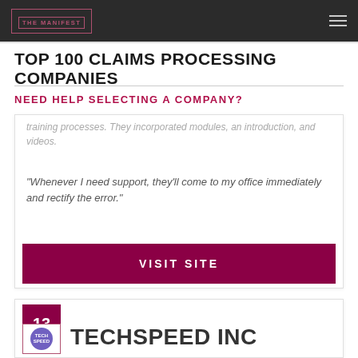THE MANIFEST
TOP 100 CLAIMS PROCESSING COMPANIES
NEED HELP SELECTING A COMPANY?
training processes. They incorporated modules, an introduction, and videos.
"Whenever I need support, they'll come to my office immediately and rectify the error."
VISIT SITE
13
TECHSPEED INC